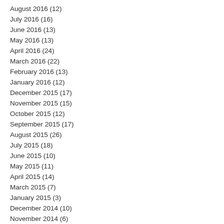August 2016 (12)
July 2016 (16)
June 2016 (13)
May 2016 (13)
April 2016 (24)
March 2016 (22)
February 2016 (13)
January 2016 (12)
December 2015 (17)
November 2015 (15)
October 2015 (12)
September 2015 (17)
August 2015 (26)
July 2015 (18)
June 2015 (10)
May 2015 (11)
April 2015 (14)
March 2015 (7)
January 2015 (3)
December 2014 (10)
November 2014 (6)
October 2014 (7)
September 2014 (7)
August 2014 (9)
July 2014 (2)